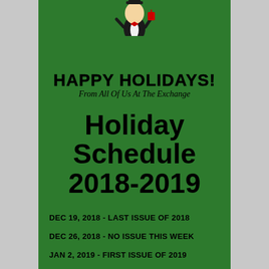[Figure (illustration): Cartoon mascot character in tuxedo at top of green holiday flyer]
HAPPY HOLIDAYS!
From All Of Us At The Exchange
Holiday Schedule 2018-2019
DEC 19, 2018 - LAST ISSUE OF 2018
DEC 26, 2018 - NO ISSUE THIS WEEK
JAN 2, 2019 - FIRST ISSUE OF 2019